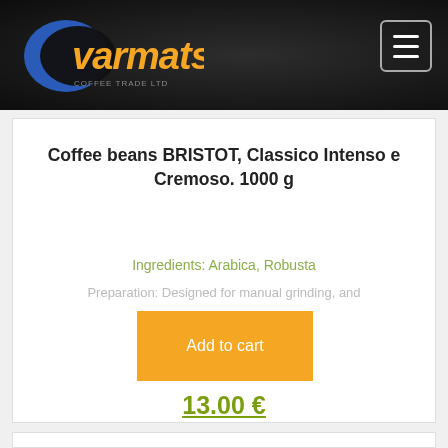[Figure (logo): Varmats company logo with blue crescent and orange text on dark background]
Coffee beans BRISTOT, Classico Intenso e Cremoso. 1000 g
Ingredients: Arabica, Robusta
Preparation: Designed for manual grinding, and
Add to cart
13.00 €